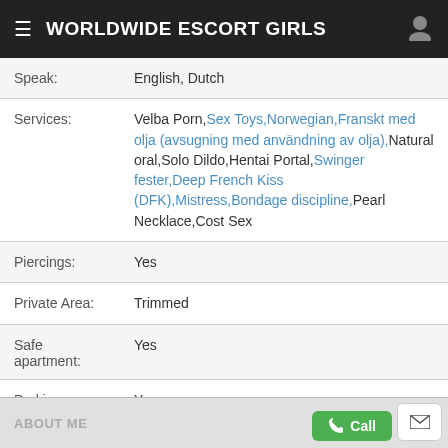WORLDWIDE ESCORT GIRLS
| Field | Value |
| --- | --- |
| Speak: | English, Dutch |
| Services: | Velba Porn, Sex Toys, Norwegian, Franskt med olja (avsugning med användning av olja), Natural oral, Solo Dildo, Hentai Portal, Swinger fester, Deep French Kiss (DFK), Mistress, Bondage discipline, Pearl Necklace, Cost Sex |
| Piercings: | Yes |
| Private Area: | Trimmed |
| Safe apartment: | Yes |
| Parking: | Yes |
| Shower available: | Yes |
ABOUT ME